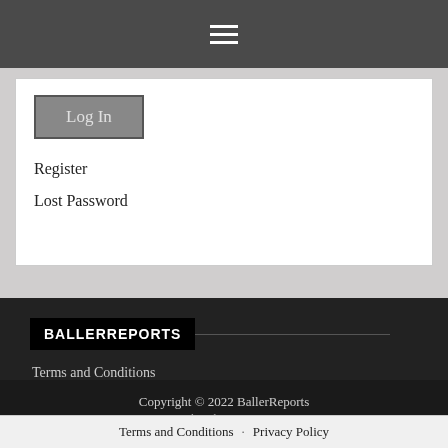[Figure (screenshot): Top navigation bar with hamburger menu icon (three horizontal lines) on dark gray background]
Log In
Register
Lost Password
BALLERREPORTS
Terms and Conditions
Privacy Policy
Copyright © 2022 BallerReports
Design by ThemesDNA.com
Terms and Conditions · Privacy Policy